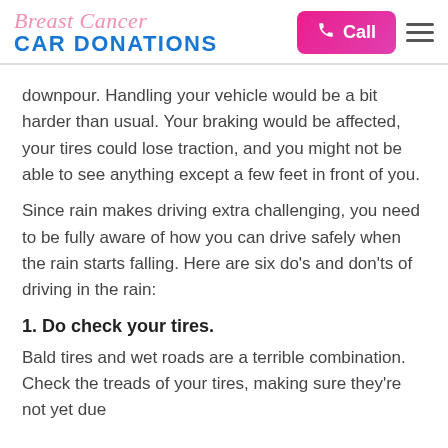Breast Cancer CAR DONATIONS | Call | Menu
downpour. Handling your vehicle would be a bit harder than usual. Your braking would be affected, your tires could lose traction, and you might not be able to see anything except a few feet in front of you.
Since rain makes driving extra challenging, you need to be fully aware of how you can drive safely when the rain starts falling. Here are six do's and don'ts of driving in the rain:
1. Do check your tires.
Bald tires and wet roads are a terrible combination. Check the treads of your tires, making sure they're not yet due